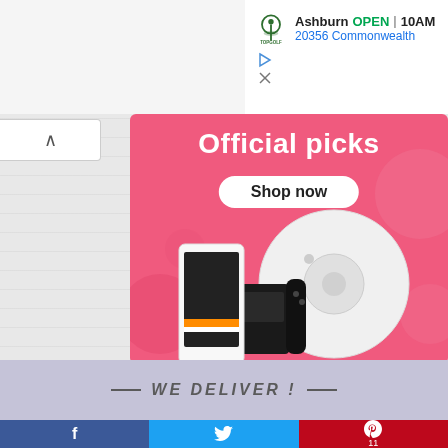[Figure (screenshot): Top Golf advertisement banner showing 'Ashburn OPEN 10AM' and address '20356 Commonwealth']
[Figure (screenshot): Pink banner advertisement showing 'Official picks' with 'Shop now' button and product images including a robot vacuum, Nintendo Switch, and smartphone]
WE DELIVER !
[Figure (infographic): Social sharing bar with Facebook, Twitter, and Pinterest buttons; Pinterest shows count of 11]